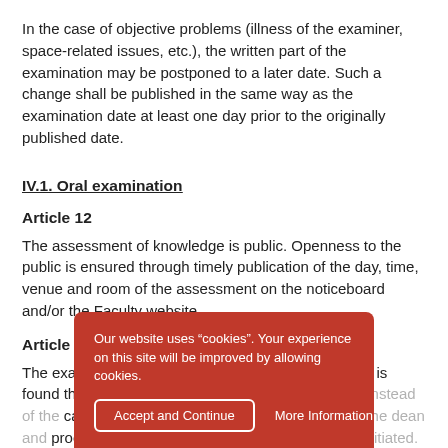In the case of objective problems (illness of the examiner, space-related issues, etc.), the written part of the examination may be postponed to a later date. Such a change shall be published in the same way as the examination date at least one day prior to the originally published date.
IV.1. Oral examination
Article 12
The assessment of knowledge is public. Openness to the public is ensured through timely publication of the day, time, venue and room of the assessment on the noticeboard and/or the Faculty website.
Article 13
The examiner shall verify the candidate's identity. If it is found that another person is taking the examination instead of the candidate, such a finding shall be reported to the dean and proceedings against the impersonator shall be initiated. The examination shall be...
Article 14
Our website uses “cookies”. Your experience on this site will be improved by allowing cookies.